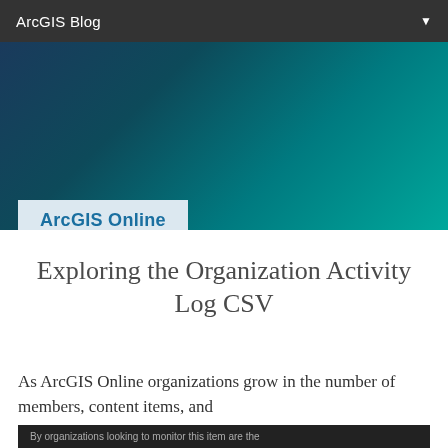ArcGIS Blog
[Figure (other): Hero banner with dark blue to teal gradient background]
ArcGIS Online
Exploring the Organization Activity Log CSV
As ArcGIS Online organizations grow in the number of members, content items, and
[Figure (screenshot): Dark background screenshot panel at bottom of page]